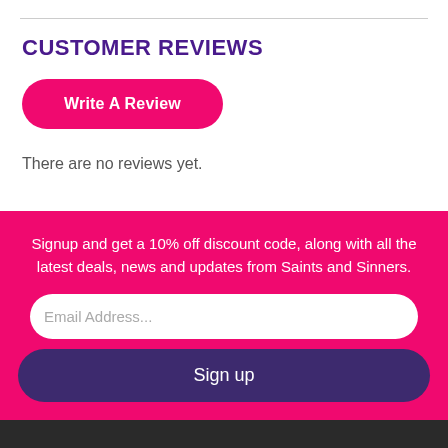CUSTOMER REVIEWS
Write A Review
There are no reviews yet.
Signup and get a 10% off discount code, along with all the latest deals, news and updates from Saints and Sinners.
Email Address...
Sign up